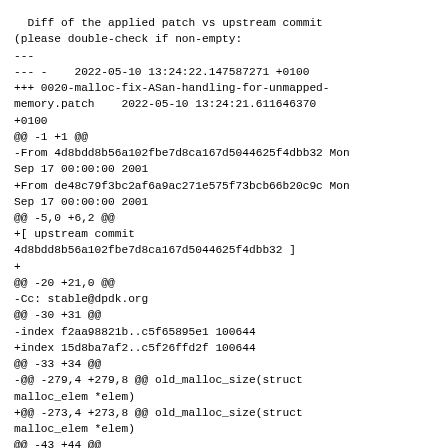Diff of the applied patch vs upstream commit (please double-check if non-empty:
---
--- -    2022-05-10 13:24:22.147587271 +0100
+++ 0020-malloc-fix-ASan-handling-for-unmapped-memory.patch    2022-05-10 13:24:21.611646370 +0100
@@ -1 +1 @@
-From 4d8bdd8b56a102fbe7d8ca167d5044625f4dbb32 Mon Sep 17 00:00:00 2001
+From de48c79f3bc2af6a9ac271e575f73bcb66b20c9c Mon Sep 17 00:00:00 2001
@@ -5,0 +6,2 @@
+[ upstream commit 4d8bdd8b56a102fbe7d8ca167d5044625f4dbb32 ]
+
@@ -20 +21,0 @@
-Cc: stable@dpdk.org
@@ -30 +31 @@
-index f2aa98821b..c5f65895e1 100644
+index 15d8ba7af2..c5f26ffd2f 100644
@@ -33 +34 @@
-@@ -279,4 +279,8 @@ old_malloc_size(struct malloc_elem *elem)
+@@ -273,4 +273,8 @@ old_malloc_size(struct malloc_elem *elem)
@@ -43 +44 @@
-index 6c572b6f2c..a3d26fcbea 100644
+index 55aad2711b..1ca01e0901 100644
@@ -46 +47,@@